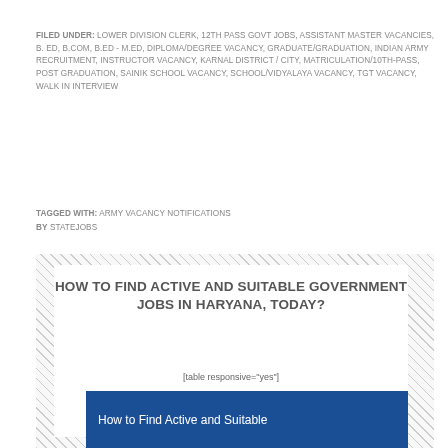FILED UNDER: LOWER DIVISION CLERK, 12TH PASS GOVT JOBS, ASSISTANT MASTER VACANCIES, B. ED, B.COM, B.ED - M.ED, DIPLOMA/DEGREE VACANCY, GRADUATE/GRADUATION, INDIAN ARMY RECRUITMENT, INSTRUCTOR VACANCY, KARNAL DISTRICT / CITY, MATRICULATION/10TH-PASS, POST GRADUATION, SAINIK SCHOOL VACANCY, SCHOOL/VIDYALAYA VACANCY, TGT VACANCY, WALK IN INTERVIEW
TAGGED WITH: ARMY VACANCY NOTIFICATIONS
BY STATEJOBS
HOW TO FIND ACTIVE AND SUITABLE GOVERNMENT JOBS IN HARYANA, TODAY?
[table responsive="yes"]
How to Find Active and Suitable